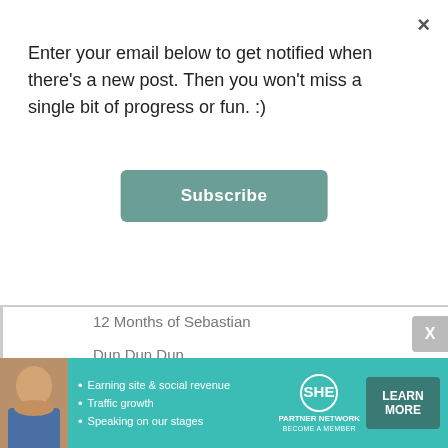Enter your email below to get notified when there's a new post. Then you won't miss a single bit of progress or fun. :)
Subscribe
12 Months of Sebastian
Dun Dun Dun
Cabinet Makeover + Cheap DIY Sponge Pattern
Goldie Toes Jr.
Mini-Bar in the Toddler Room
► 2014 (82)
► 2013 (111)
► 2012 (98)
► 2011 (54)
[Figure (infographic): SHE Partner Network advertisement banner with woman photo, bullet points about earning site & social revenue, traffic growth, speaking on stages, SHE logo, and LEARN MORE button]